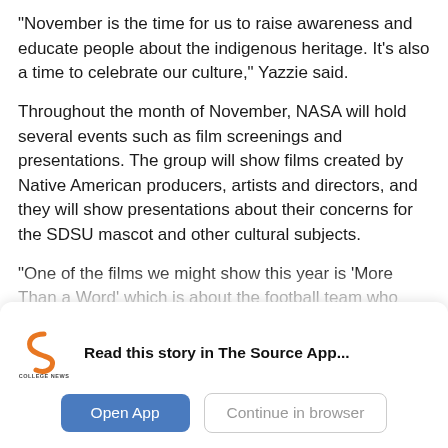“November is the time for us to raise awareness and educate people about the indigenous heritage. It’s also a time to celebrate our culture,” Yazzie said.
Throughout the month of November, NASA will hold several events such as film screenings and presentations. The group will show films created by Native American producers, artists and directors, and they will show presentations about their concerns for the SDSU mascot and other cultural subjects.
“One of the films we might show this year is ‘More Than a Word’ which is about the football team who
[Figure (logo): College News Source logo with orange curved S icon and text COLLEGE NEWS SOURCE below]
Read this story in The Source App...
Open App
Continue in browser